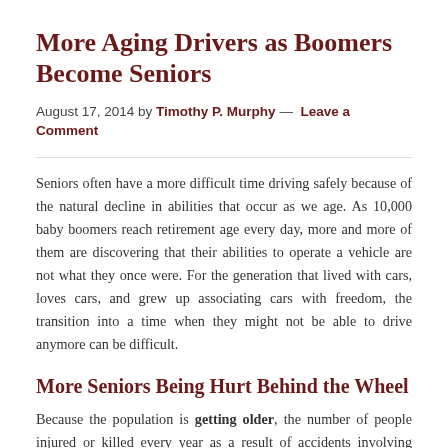More Aging Drivers as Boomers Become Seniors
August 17, 2014 by Timothy P. Murphy — Leave a Comment
Seniors often have a more difficult time driving safely because of the natural decline in abilities that occur as we age. As 10,000 baby boomers reach retirement age every day, more and more of them are discovering that their abilities to operate a vehicle are not what they once were. For the generation that lived with cars, loves cars, and grew up associating cars with freedom, the transition into a time when they might not be able to drive anymore can be difficult.
More Seniors Being Hurt Behind the Wheel
Because the population is getting older, the number of people injured or killed every year as a result of accidents involving senior citizens continues to climb. The National Highway Traffic Safety Administration reports that in 2012 th...